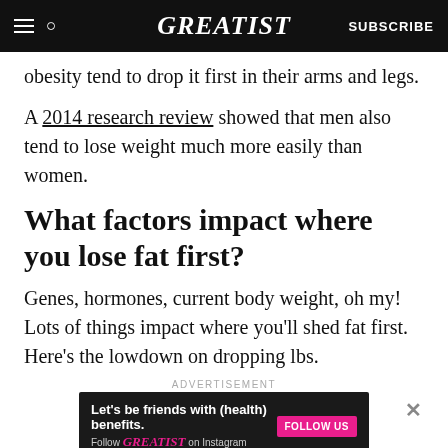GREATIST | SUBSCRIBE
obesity tend to drop it first in their arms and legs.
A 2014 research review showed that men also tend to lose weight much more easily than women.
What factors impact where you lose fat first?
Genes, hormones, current body weight, oh my! Lots of things impact where you'll shed fat first. Here's the lowdown on dropping lbs.
ADVERTISEMENT
[Figure (other): Advertisement banner: Let's be friends with (health) benefits. Follow GREATIST on Instagram. FOLLOW US button.]